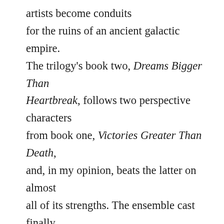artists become conduits for the ruins of an ancient galactic empire. The trilogy's book two, Dreams Bigger Than Heartbreak, follows two perspective characters from book one, Victories Greater Than Death, and, in my opinion, beats the latter on almost all of its strengths. The ensemble cast finally comes into its own, and the sparkling concepts in Anders' worldbuilding finally get to shine. Plus, two incredibly resonant areas of commentary––creativity after trauma and the oversaturation of information in the digital age––give the book some excellent themes to chew on. Action scenes remain a little fuzzy (and Anders still introduces way too many new characters for her own good!),